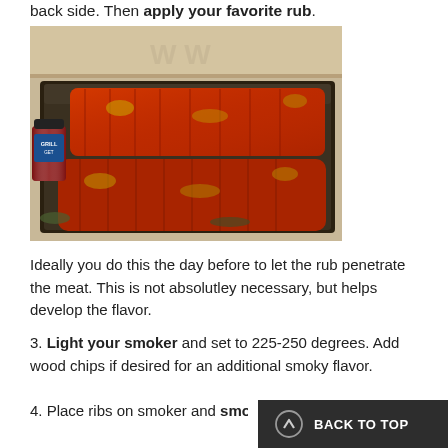back side. Then apply your favorite rub.
[Figure (photo): Two racks of ribs coated in red spice rub sitting on a dark baking tray, with a jar of BBQ/grilling seasoning on the left side, placed on a counter near a wooden cutting board.]
Ideally you do this the day before to let the rub penetrate the meat. This is not absolutley necessary, but helps develop the flavor.
3. Light your smoker and set to 225-250 degrees. Add wood chips if desired for an additional smoky flavor.
4. Place ribs on smoker and smoke for 3 to 4 hours,
BACK TO TOP